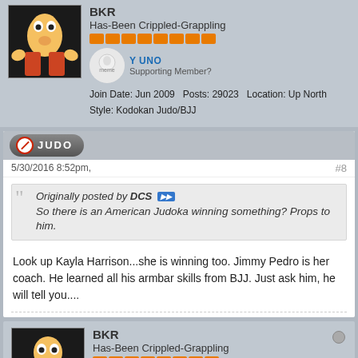Has-Been Crippled-Grappling
Y UNO Supporting Member?
Join Date: Jun 2009   Posts: 29023   Location: Up North   Style: Kodokan Judo/BJJ
[Figure (screenshot): JUDO badge/banner with no symbol]
5/30/2016 8:52pm,
#8
Originally posted by DCS
So there is an American Judoka winning something? Props to him.
Look up Kayla Harrison...she is winning too. Jimmy Pedro is her coach. He learned all his armbar skills from BJJ. Just ask him, he will tell you....
BKR
Has-Been Crippled-Grappling
Y UNO Supporting Member?
Join Date: Jun 2009   Posts: 29023   Location: Up North